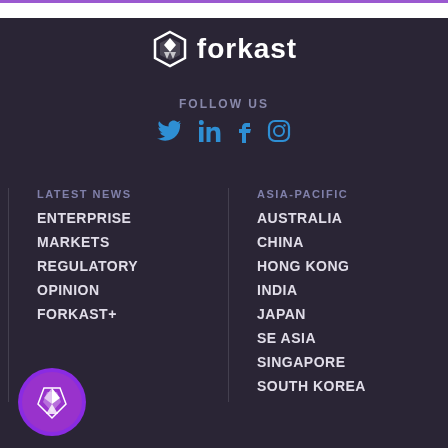[Figure (logo): Forkast news logo with diamond/arrow icon and wordmark 'forkast' in white on dark background]
FOLLOW US
[Figure (infographic): Social media icons: Twitter, LinkedIn, Facebook, Instagram in blue]
LATEST NEWS
ENTERPRISE
MARKETS
REGULATORY
OPINION
FORKAST+
ASIA-PACIFIC
AUSTRALIA
CHINA
HONG KONG
INDIA
JAPAN
SE ASIA
SINGAPORE
SOUTH KOREA
[Figure (logo): Forkast circular icon with white arrow/compass design on purple background]